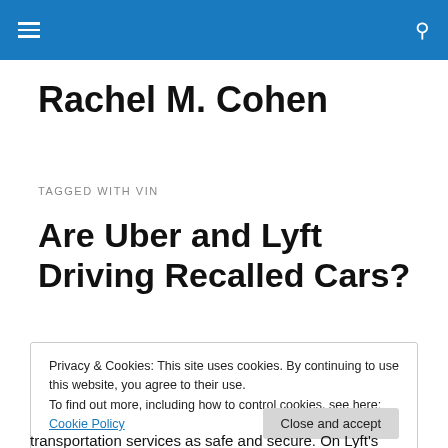Rachel M. Cohen – header navigation bar
Rachel M. Cohen
TAGGED WITH VIN
Are Uber and Lyft Driving Recalled Cars?
Privacy & Cookies: This site uses cookies. By continuing to use this website, you agree to their use.
To find out more, including how to control cookies, see here: Cookie Policy
transportation services as safe and secure. On Lyft's